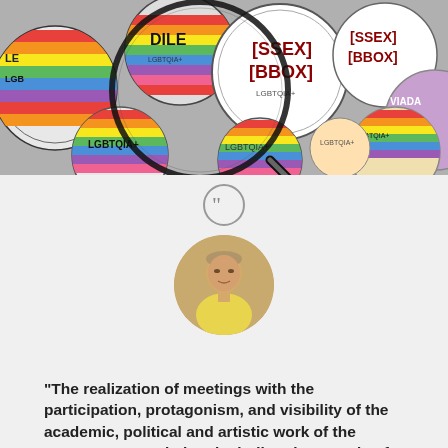[Figure (photo): Photo of colorful LGBTQIA+ buttons/badges with rainbow designs and text including 'SSEX BBOX', 'LGBTQIA+', 'VIADA', seen through a magnifying glass]
[Figure (photo): Circular portrait of an older man wearing a yellow shirt, shown in a circular cropped photo]
“The realization of meetings with the participation, protagonism, and visibility of the academic, political and artistic work of the LGBTQIA+ population, including the agenda of children and